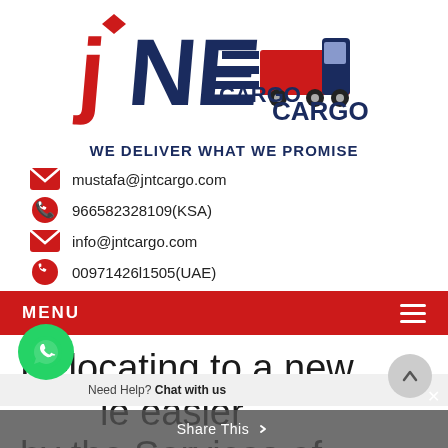[Figure (logo): JNF Cargo company logo with red and dark blue stylized letters J, N, E and a cargo truck graphic with the word CARGO]
WE DELIVER WHAT WE PROMISE
mustafa@jntcargo.com
966582328109(KSA)
info@jntcargo.com
00971426l1505(UAE)
MENU
Relocating to a new le easier by the Services of
Need Help? Chat with us
Share This